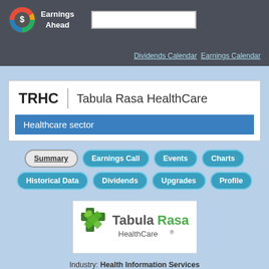Earnings Ahead
Dividends Calendar  Earnings Calendar
TRHC | Tabula Rasa HealthCare
Healthcare sector
Summary
Earnings Call
Events
Charts
Historical Data
Dividends
Upgrades
Profile
[Figure (logo): Tabula Rasa HealthCare logo with green cross and leaf icon, text 'TabulaRasa HealthCare®']
Industry: Health Information Services
Quick infos